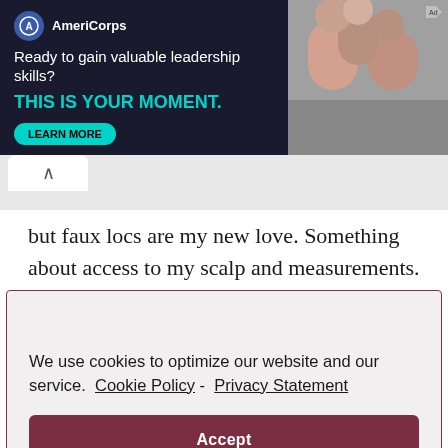[Figure (other): AmeriCorps advertisement banner. Dark navy background with AmeriCorps logo (circular icon with A), text 'Ready to gain valuable leadership skills?' and 'THIS IS YOUR MOMENT.' in teal bold, a teal 'LEARN MORE' button, and a photo of people on the right side. Small sponsored/ad icon top right.]
We use cookies to optimize our website and our service.  Cookie Policy -  Privacy Statement
Accept
but faux locs are my new love. Something about access to my scalp and measurements.
Reply